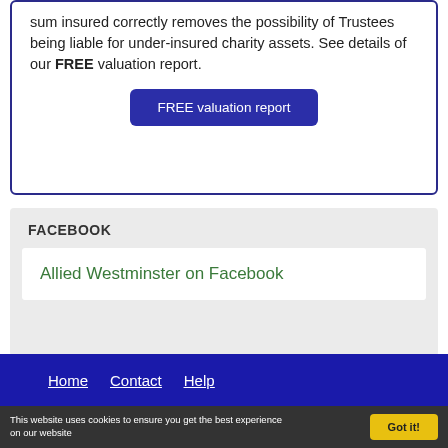sum insured correctly removes the possibility of Trustees being liable for under-insured charity assets. See details of our FREE valuation report.
FREE valuation report
FACEBOOK
Allied Westminster on Facebook
Home   Contact   Help
This website uses cookies to ensure you get the best experience on our website
Got it!